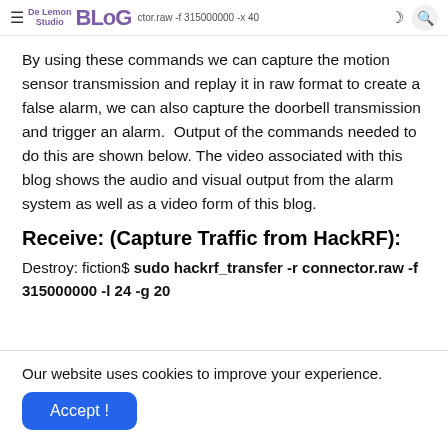≡ De Lemon Studio BLOG hackrf_transfer -r connector.raw -f 315000000 -x 40
By using these commands we can capture the motion sensor transmission and replay it in raw format to create a false alarm, we can also capture the doorbell transmission and trigger an alarm.  Output of the commands needed to do this are shown below. The video associated with this blog shows the audio and visual output from the alarm system as well as a video form of this blog.
Receive: (Capture Traffic from HackRF):
Destroy: fiction$ sudo hackrf_transfer -r connector.raw -f 315000000 -l 24 -g 20
Our website uses cookies to improve your experience.